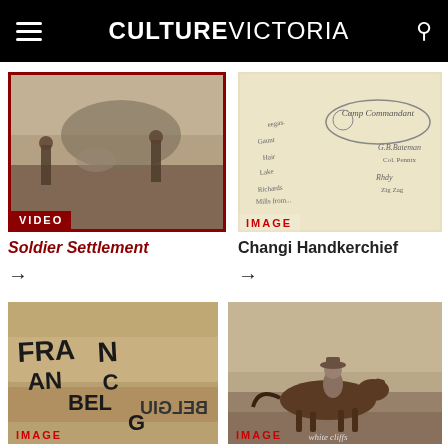CULTURE VICTORIA
[Figure (photo): Sepia photo of soldiers or settlers in a field clearing, historical outdoor scene. Red border around image. Label: VIDEO]
Soldier Settlement
→
[Figure (photo): Sepia/cream colored handkerchief with handwritten signatures and text, including 'Camp Commandant'. Label: IMAGE]
Changi Handkerchief
→
[Figure (photo): Close-up of wooden blocks or tiles with text reading 'FRANCE AND BELGIUM' (partially visible). Label: IMAGE]
[Figure (photo): Sepia photo of a rider on horseback, with text 'white cliffs' partially visible. Label: IMAGE]